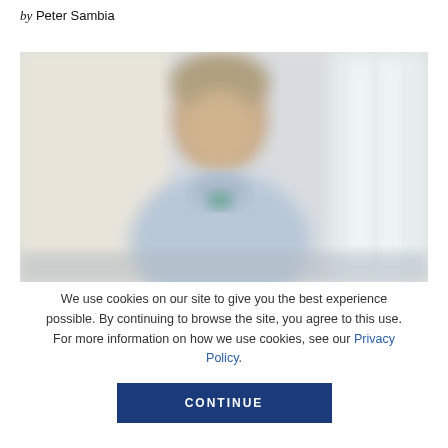by Peter Sambia
[Figure (photo): Blurred photo of a person, appears to be a man in a light blue shirt, smiling, indoor setting with bright windows in background]
We use cookies on our site to give you the best experience possible. By continuing to browse the site, you agree to this use. For more information on how we use cookies, see our Privacy Policy.
CONTINUE